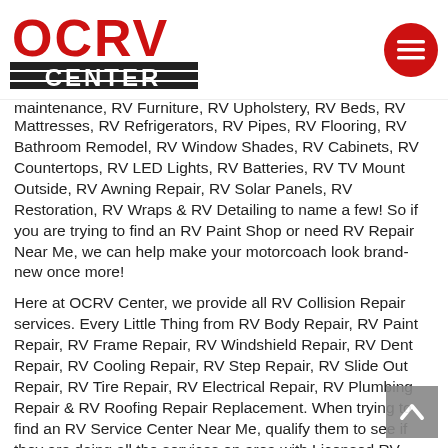OCRV CENTER
maintenance, RV Furniture, RV Upholstery, RV Beds, RV Mattresses, RV Refrigerators, RV Pipes, RV Flooring, RV Bathroom Remodel, RV Window Shades, RV Cabinets, RV Countertops, RV LED Lights, RV Batteries, RV TV Mount Outside, RV Awning Repair, RV Solar Panels, RV Restoration, RV Wraps & RV Detailing to name a few! So if you are trying to find an RV Paint Shop or need RV Repair Near Me, we can help make your motorcoach look brand-new once more!
Here at OCRV Center, we provide all RV Collision Repair services. Every Little Thing from RV Body Repair, RV Paint Repair, RV Frame Repair, RV Windshield Repair, RV Dent Repair, RV Cooling Repair, RV Step Repair, RV Slide Out Repair, RV Tire Repair, RV Electrical Repair, RV Plumbing Repair & RV Roofing Repair Replacement. When trying to find an RV Service Center Near Me, qualify them to see if they are doing all the services on area with Licensed RV Mechanics! When picking OCRV Center, we are the one-